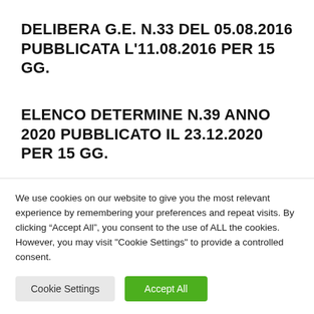DELIBERA G.E. N.33 DEL 05.08.2016 PUBBLICATA L’11.08.2016 PER 15 GG.
ELENCO DETERMINE N.39 ANNO 2020 PUBBLICATO IL 23.12.2020 PER 15 GG.
ELENCO DETERMINE N.14 PUBBLICATO IL
We use cookies on our website to give you the most relevant experience by remembering your preferences and repeat visits. By clicking “Accept All”, you consent to the use of ALL the cookies. However, you may visit "Cookie Settings" to provide a controlled consent.